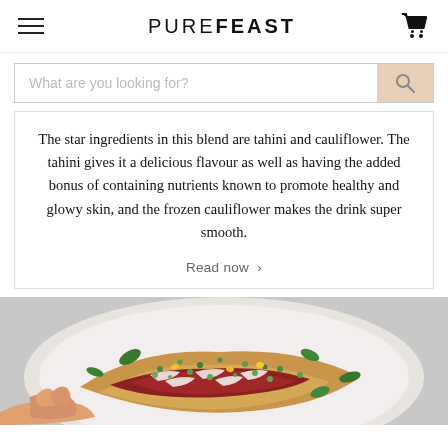PURE FEAST
What are you looking for?
The star ingredients in this blend are tahini and cauliflower. The tahini gives it a delicious flavour as well as having the added bonus of containing nutrients known to promote healthy and glowy skin, and the frozen cauliflower makes the drink super smooth.

Read now >
[Figure (photo): A hand holding slices of flatbread pizza topped with red sauce, shaved meat, green herbs, peas, and corn, served on a white plate against a light grey background.]